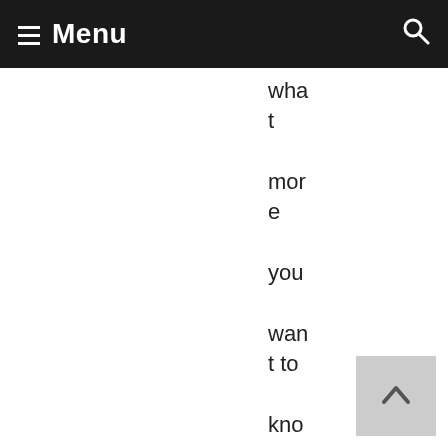Menu
what more you want to know about DHARMA. I'm guessing Jacob invit